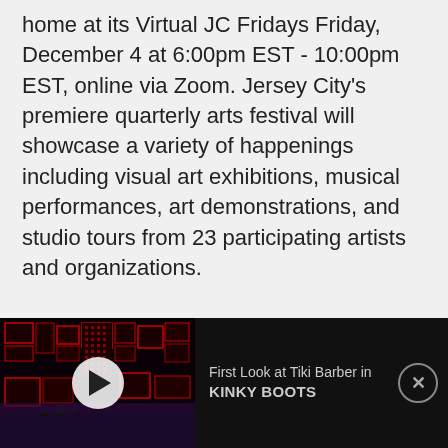home at its Virtual JC Fridays Friday, December 4 at 6:00pm EST - 10:00pm EST, online via Zoom. Jersey City's premiere quarterly arts festival will showcase a variety of happenings including visual art exhibitions, musical performances, art demonstrations, and studio tours from 23 participating artists and organizations.
[Figure (screenshot): Video advertisement thumbnail showing a dark theater stage with red geometric set design, accompanied by text 'First Look at Tiki Barber in KINKY BOOTS' and a close button (X circle) on the right.]